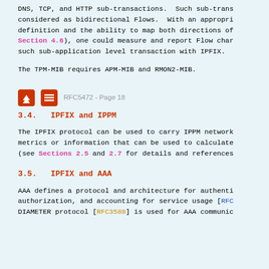DNS, TCP, and HTTP sub-transactions. Such sub-trans considered as bidirectional Flows. With an appropri definition and the ability to map both directions of Section 4.6), one could measure and report Flow char such sub-application level transaction with IPFIX.
The TPM-MIB requires APM-MIB and RMON2-MIB.
RFC5472 - Page 18
3.4.  IPFIX and IPPM
The IPFIX protocol can be used to carry IPPM network metrics or information that can be used to calculate (see Sections 2.5 and 2.7 for details and references
3.5.  IPFIX and AAA
AAA defines a protocol and architecture for authenti authorization, and accounting for service usage [RFC DIAMETER protocol [RFC3588] is used for AAA communic